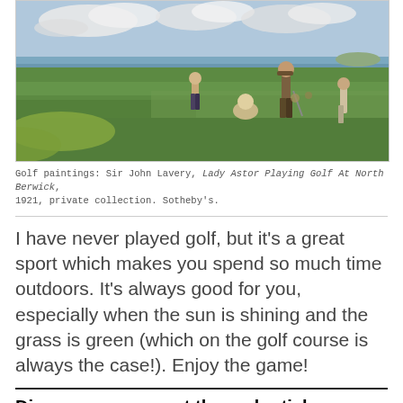[Figure (illustration): Oil painting showing golfers on a coastal links course with green hills, sea and cloudy sky in background. Several figures on the fairway, one swinging a club.]
Golf paintings: Sir John Lavery, Lady Astor Playing Golf At North Berwick, 1921, private collection. Sotheby's.
I have never played golf, but it's a great sport which makes you spend so much time outdoors. It's always good for you, especially when the sun is shining and the grass is green (which on the golf course is always the case!). Enjoy the game!
Discover more sport themed articles:
http://www.dailyartmagazine.com/sport-art-...